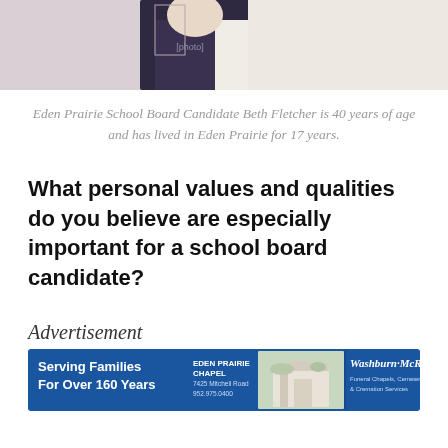[Figure (photo): Cropped photo showing the torso of Eden Prairie School Board Candidate Beth Fletcher, wearing a dark leopard-print top and a light-colored jacket with beaded necklace]
Eden Prairie School Board Candidate Beth Fletcher is 40 years of age and has lived in Eden Prairie for 17 years.
What personal values and qualities do you believe are especially important for a school board candidate?
Advertisement
[Figure (photo): Advertisement banner for Washburn-McReavy Funeral Chapels. Blue background. Left: 'Serving Families For Over 160 Years'. Center: 'Eden Prairie Chapel, 7425 Mitchell Road, 952.975.0400'. Photo of chapel building. Right: Washburn-McReavy logo with 'Funeral Chapels, Cemeteries, & Cremation Services']